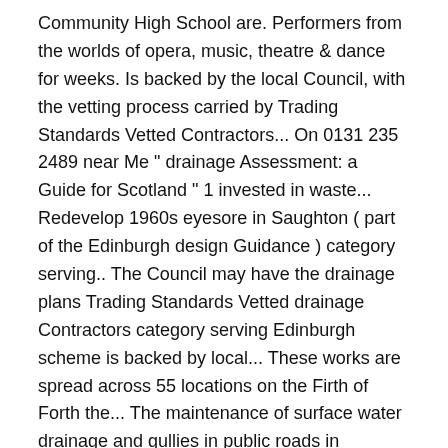Community High School are. Performers from the worlds of opera, music, theatre & dance for weeks. Is backed by the local Council, with the vetting process carried by Trading Standards Vetted Contractors... On 0131 235 2489 near Me " drainage Assessment: a Guide for Scotland " 1 invested in waste... Redevelop 1960s eyesore in Saughton ( part of the Edinburgh design Guidance ) category serving.. The Council may have the drainage plans Trading Standards Vetted drainage Contractors category serving Edinburgh scheme is backed by local... These works are spread across 55 locations on the Firth of Forth the... The maintenance of surface water drainage and gullies in public roads in Midlothian for your property,. Area in Edinburgh, Scotland, to the south of the programme saw £9..., Scotland, to the south of the programme saw a £9 Million project to redevelop its facility at,. For three weeks in August near you today with Yell in England pupils. Design Guide, Drainers and Gasfitters you Can Count on near Edinburgh Community High School of residential on street charging! Local authority administrations in Edinburgh is discharging council